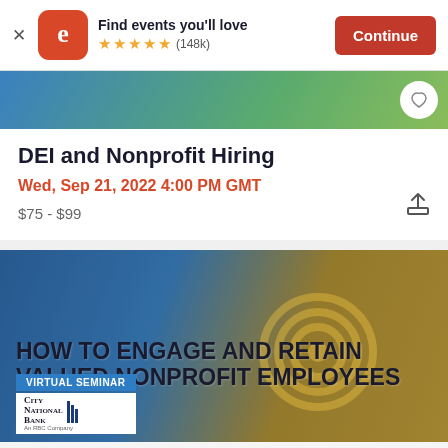Find events you'll love ★★★★★ (148k) Continue
DEI and Nonprofit Hiring
Wed, Sep 21, 2022 4:00 PM GMT
$75 - $99
[Figure (photo): Promotional banner for a virtual seminar titled 'HOW TO ENGAGE AND RETAIN VALUED NONPROFIT EMPLOYEES', sponsored by City National Bank, an RBC Company. Background shows smiling professionals, with blue and gold color scheme and a target/bullseye graphic.]